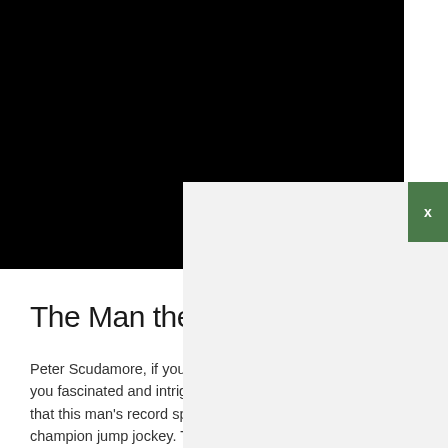[Figure (photo): Large black photograph area taking up the upper portion of the page, split into two panels with a white overlay box partially covering the right half lower section]
The Man the Legend
Peter Scudamore, if you do fascinated and intrigue that this man's record spea champion jump jockey. To understatement, but let's j room in his home to store all the trophies. He wasn't simply great